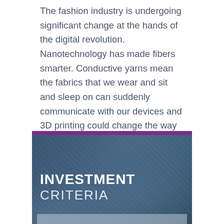The fashion industry is undergoing significant change at the hands of the digital revolution. Nanotechnology has made fibers smarter. Conductive yarns mean the fabrics that we wear and sit and sleep on can suddenly communicate with our devices and 3D printing could change the way we think about, produce, wear, and even buy clothes.
[Figure (illustration): Dark blue-toned background image with a purple accent bar at the top, overlaid with bold white text reading 'INVESTMENT CRITERIA'. The background appears to show a blurred fabric or textile texture. A light grey/white bar is partially visible at the bottom.]